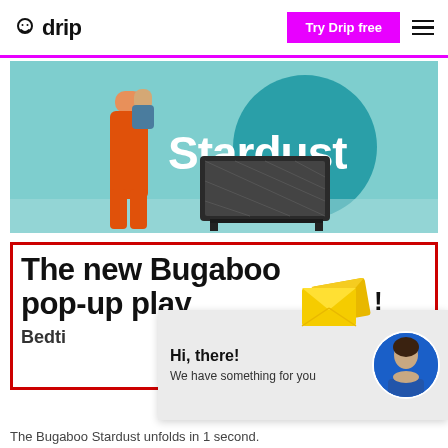drip
[Figure (photo): Hero banner showing a woman in orange holding a baby, with a Bugaboo Stardust travel cot in front, and a large teal circle behind. Text 'Stardust' overlaid in white.]
The new Bugaboo pop-up play
Bedti
[Figure (screenshot): Pop-up chat widget showing yellow envelope icons, an exclamation mark, and a blue avatar of a woman. Text reads 'Hi, there! We have something for you']
The Bugaboo Stardust unfolds in 1 second.